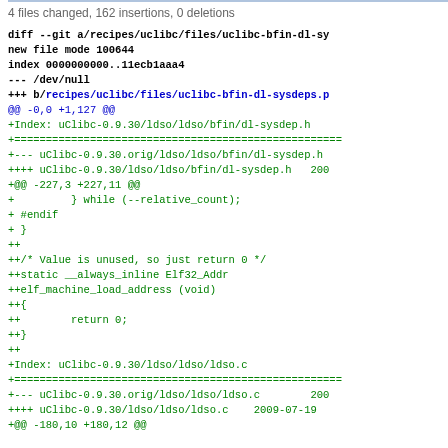4 files changed, 162 insertions, 0 deletions
diff --git a/recipes/uclibc/files/uclibc-bfin-dl-sy
new file mode 100644
index 0000000000..11ecb1aaa4
--- /dev/null
+++ b/recipes/uclibc/files/uclibc-bfin-dl-sysdeps.p
@@ -0,0 +1,127 @@
+Index: uClibc-0.9.30/ldso/ldso/bfin/dl-sysdep.h
+===================================================
+--- uClibc-0.9.30.orig/ldso/ldso/bfin/dl-sysdep.h
++++ uClibc-0.9.30/ldso/ldso/bfin/dl-sysdep.h   200
+@@ -227,3 +227,11 @@
+         } while (--relative_count);
+ #endif
+ }
++
++/* Value is unused, so just return 0 */
++static __always_inline Elf32_Addr
++elf_machine_load_address (void)
++{
++        return 0;
++}
++
+Index: uClibc-0.9.30/ldso/ldso/ldso.c
+===================================================
+--- uClibc-0.9.30.orig/ldso/ldso/ldso.c        200
++++ uClibc-0.9.30/ldso/ldso/ldso.c    2009-07-19
+@@ -180,10 +180,12 @@